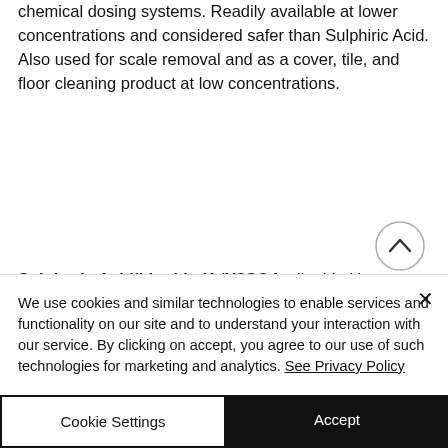chemical dosing systems. Readily available at lower concentrations and considered safer than Sulphiric Acid. Also used for scale removal and as a cover, tile, and floor cleaning product at low concentrations.
Sulphuric Acid/Liquid pH-/H2SO4 – liquid pH adjustment, highly hazardous and more regulated than HCl.
We use cookies and similar technologies to enable services and functionality on our site and to understand your interaction with our service. By clicking on accept, you agree to our use of such technologies for marketing and analytics. See Privacy Policy